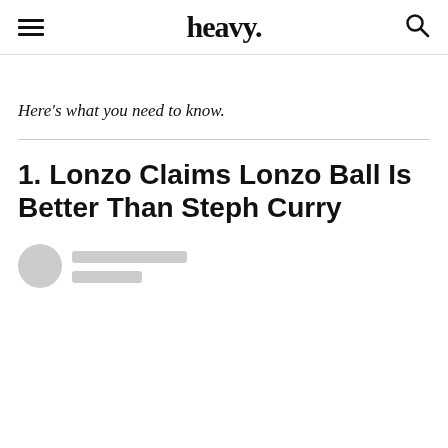heavy.
Here’s what you need to know.
1. Lonzo Claims Lonzo Ball Is Better Than Steph Curry
[Figure (other): Author avatar placeholder circle with two grey placeholder lines for author name and date]